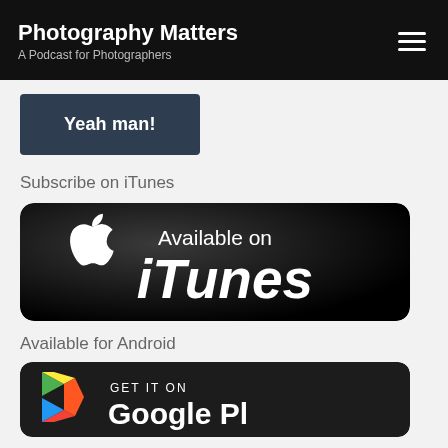Photography Matters
A Podcast for Photographers
Yeah man!
Subscribe on iTunes
[Figure (logo): Available on iTunes badge — black rounded rectangle with Apple logo and text 'Available on iTunes']
Available for Android
[Figure (logo): Get it on Google Play badge — dark rounded rectangle with Google Play triangle logo and text 'GET IT ON Google Pl...' (partially visible)]